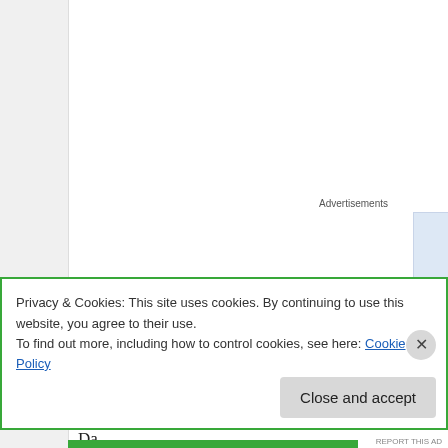Advertisements
[Figure (screenshot): Advertisement banner area with blue/gray background and partially visible bold text]
It was never like this before. Ever.
I'm twelve years old and I can remember when Mom, Da But that was years ago. It's been a long time since there in this house.
Well, before Mom died anyway, and not a day since.
Privacy & Cookies: This site uses cookies. By continuing to use this website, you agree to their use.
To find out more, including how to control cookies, see here: Cookie Policy